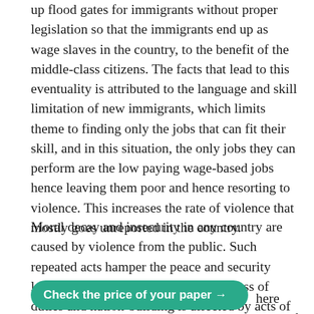up flood gates for immigrants without proper legislation so that the immigrants end up as wage slaves in the country, to the benefit of the middle-class citizens. The facts that lead to this eventuality is attributed to the language and skill limitation of new immigrants, which limits theme to finding only the jobs that can fit their skill, and in this situation, the only jobs they can perform are the low paying wage-based jobs hence leaving them poor and hence resorting to violence. This increases the rate of violence that mostly goes unreported in the country.
Moral decay and insecurity in any country are caused by violence from the public. Such repeated acts hamper the peace and security level in any setting. The normal progress of duties and nation-building is affected by acts of crime and violence. This is mainly because the economy and the overall gross domestic production (GDP) significantly drop unless the violence is contained by
Check the price of your paper →
here cannot be any